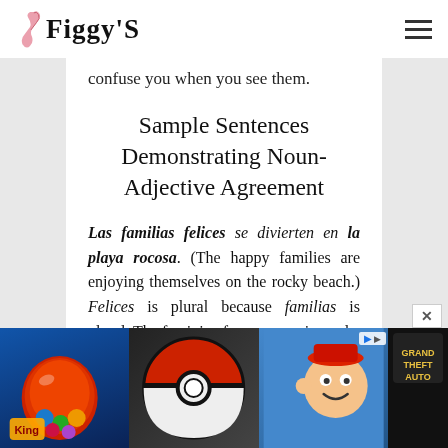Figgy'S
confuse you when you see them.
Sample Sentences Demonstrating Noun-Adjective Agreement
Las familias felices se divierten en la playa rocosa. (The happy families are enjoying themselves on the rocky beach.) Felices is plural because familias is plural. The feminine form rocosa is used
[Figure (screenshot): Advertisement banner showing mobile game icons (Candy Crush, Pokemon ball, a character game, and Grand Theft Auto) with AdChoices icon and close button]